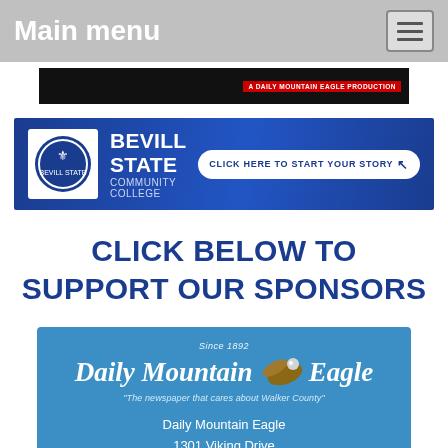Main menu
[Figure (screenshot): Dark banner strip with red label reading 'A Daily Mountain Eagle Production']
[Figure (screenshot): Bevill State Community College advertisement banner with logo and 'Click Here To Start Your Story' call-to-action]
CLICK BELOW TO SUPPORT OUR SPONSORS
[Figure (logo): Daily Mountain Eagle logo card on blue background with eagle illustration, 'Since 1892', tagline 'The newspaper that cares about Walker County', address: Daily Mountain Eagle, 1301 Viking Drive, Jasper, AL 35501]